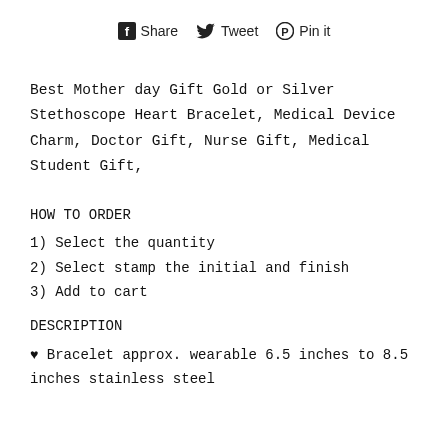[Figure (other): Social share bar with Facebook Share, Twitter Tweet, and Pinterest Pin it icons and labels]
Best Mother day Gift Gold or Silver Stethoscope Heart Bracelet, Medical Device Charm, Doctor Gift, Nurse Gift, Medical Student Gift,
HOW TO ORDER
1) Select the quantity
2) Select stamp the initial and finish
3) Add to cart
DESCRIPTION
♥ Bracelet approx. wearable 6.5 inches to 8.5 inches stainless steel